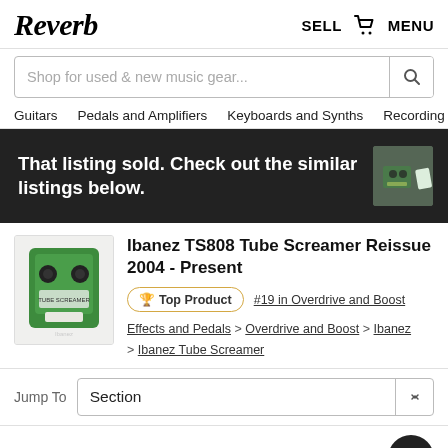Reverb  SELL  MENU
Shop for used & new music gear...
Guitars  Pedals and Amplifiers  Keyboards and Synths  Recording
That listing sold. Check out the similar listings below.
Ibanez TS808 Tube Screamer Reissue 2004 - Present
🏆 Top Product   #19 in Overdrive and Boost
Effects and Pedals > Overdrive and Boost > Ibanez > Ibanez Tube Screamer
Jump To  Section
Featured Listing